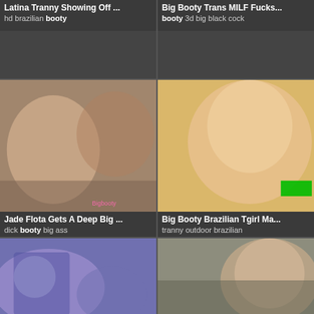[Figure (screenshot): Video thumbnail grid - top left: Latina Tranny Showing Off, tags: hd brazilian booty]
[Figure (screenshot): Video thumbnail grid - top right: Big Booty Trans MILF Fucks, tags: booty 3d big black cock]
[Figure (screenshot): Video thumbnail grid - mid left: Jade Flota Gets A Deep Big, tags: dick booty big ass]
[Figure (screenshot): Video thumbnail grid - mid right: Big Booty Brazilian Tgirl Ma, tags: tranny outdoor brazilian]
[Figure (screenshot): Video thumbnail grid - bottom left: unlabeled thumbnail]
[Figure (screenshot): Video thumbnail grid - bottom right: unlabeled thumbnail]